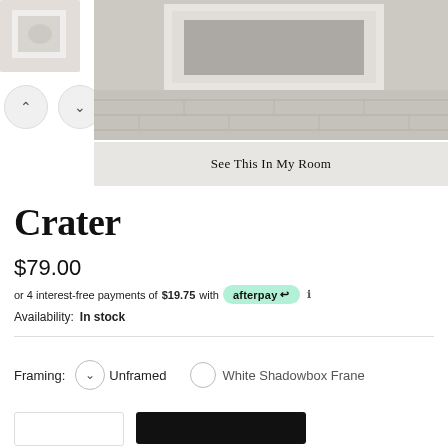[Figure (photo): Product thumbnail showing white ceramic or plaster wall art piece on light background]
[Figure (photo): Main product image showing white shadowbox frame with textured brick/stone wall background]
See This In My Room
Crater
$79.00
or 4 interest-free payments of $19.75 with afterpay ℹ
Availability:  In stock
Framing:  Unframed  White Shadowbox Frane